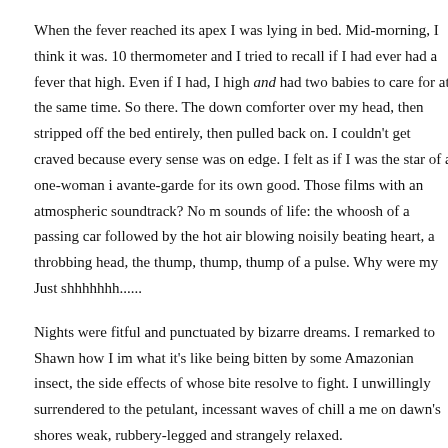When the fever reached its apex I was lying in bed. Mid-morning, I think it was. 10 thermometer and I tried to recall if I had ever had a fever that high. Even if I had, I high and had two babies to care for at the same time. So there. The down comforter over my head, then stripped off the bed entirely, then pulled back on. I couldn't get craved because every sense was on edge. I felt as if I was the star of a one-woman i avante-garde for its own good. Those films with an atmospheric soundtrack? No m sounds of life: the whoosh of a passing car followed by the hot air blowing noisily beating heart, a throbbing head, the thump, thump, thump of a pulse. Why were my Just shhhhhhh......
Nights were fitful and punctuated by bizarre dreams. I remarked to Shawn how I im what it's like being bitten by some Amazonian insect, the side effects of whose bite resolve to fight. I unwillingly surrendered to the petulant, incessant waves of chill a me on dawn's shores weak, rubbery-legged and strangely relaxed.
Several days into the antibiotics I was up at 4:45am nursing Charles back to sleep. indicated the premature hour and I decided to nurse him in bed. Leaving a trail behi glass of water--I wandered up the stairs, babe in arms, and collapsed next to Shawn